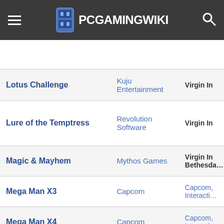PCGamingWiki
| Game | Developer | Publisher |
| --- | --- | --- |
|  |  |  |
| Lotus Challenge | Kuju Entertainment | Virgin In… |
| Lure of the Temptress | Revolution Software | Virgin In… |
| Magic & Mayhem | Mythos Games | Virgin In… / Bethesda… |
| Mega Man X3 | Capcom | Capcom, Interacti… |
| Mega Man X4 | Capcom | Capcom, Interacti… |
| Monopoly Deluxe | Virgin Games | Virgin Ga… |